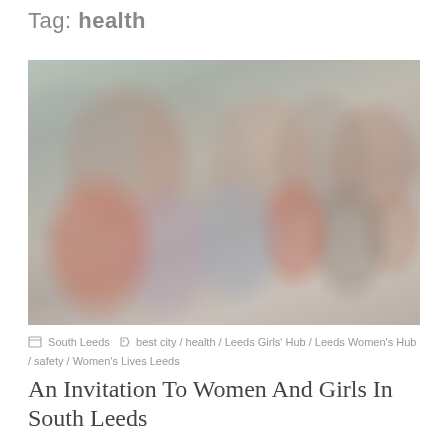Tag: health
[Figure (photo): Group photo of women in an office/meeting room setting. Several women in the foreground hold purple booklets/pamphlets with a female symbol logo. People are dressed in colorful clothing including red, patterned, and blue outfits.]
South Leeds   best city / health / Leeds Girls' Hub / Leeds Women's Hub / safety / Women's Lives Leeds
An Invitation To Women And Girls In South Leeds